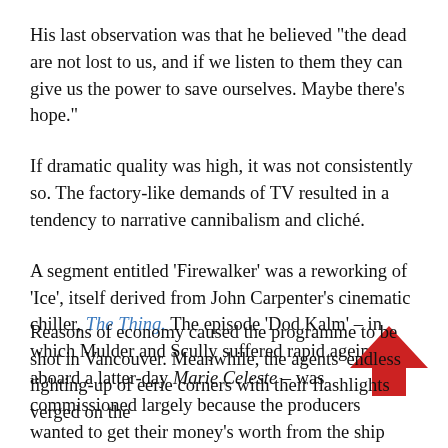His last observation was that he believed “the dead are not lost to us, and if we listen to them they can give us the power to save ourselves. Maybe there’s hope.”
If dramatic quality was high, it was not consistently so. The factory-like demands of TV resulted in a tendency to narrative cannibalism and cliché.
A segment entitled ‘Firewalker’ was a reworking of ‘Ice’, itself derived from John Carpenter’s cinematic chiller, The Thing. The episode ‘Dod Kalm’ – in which Mulder and Scully suffered rapid ageing aboard a latter-day Marie Celeste – was commissioned largely because the producers wanted to get their money’s worth from the ship used in ‘Colony’ and ‘End Game’.
[Figure (illustration): Red upward-pointing arrow icon in lower right area of page]
Reasons of economy caused the programme to be shot in Vancouver. Meanwhile, the agents’ endless lighting-up of eerie corners with their flashlights verged on the